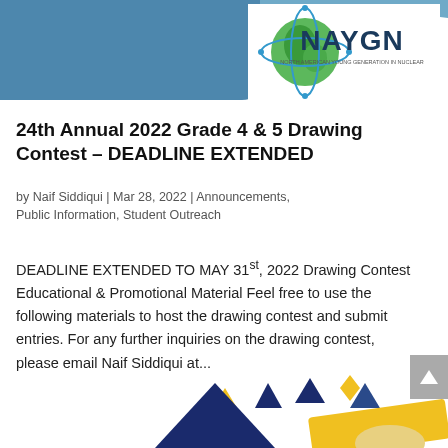[Figure (logo): NAYGN (North American Young Generation in Nuclear) logo with green globe graphic and organization name in large teal/dark letters]
24th Annual 2022 Grade 4 & 5 Drawing Contest – DEADLINE EXTENDED
by Naif Siddiqui | Mar 28, 2022 | Announcements, Public Information, Student Outreach
DEADLINE EXTENDED TO MAY 31st, 2022 Drawing Contest Educational & Promotional Material Feel free to use the following materials to host the drawing contest and submit entries. For any further inquiries on the drawing contest, please email Naif Siddiqui at...
[Figure (illustration): Colorful decorative triangles and geometric shapes in blue, yellow, and dark blue at the bottom of the page, partial view of a drawing contest image]